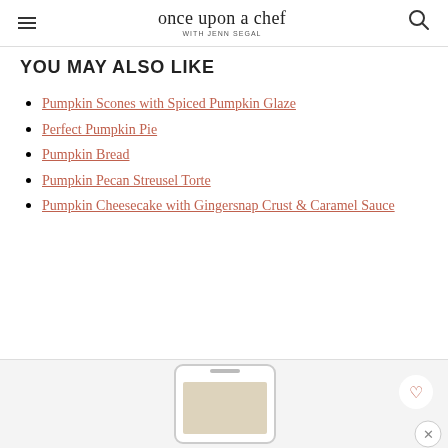once upon a chef WITH JENN SEGAL
YOU MAY ALSO LIKE
Pumpkin Scones with Spiced Pumpkin Glaze
Perfect Pumpkin Pie
Pumpkin Bread
Pumpkin Pecan Streusel Torte
Pumpkin Cheesecake with Gingersnap Crust & Caramel Sauce
[Figure (screenshot): Bottom banner showing a phone mockup with a food image, a heart/favorite button, and a close button on a light gray background.]